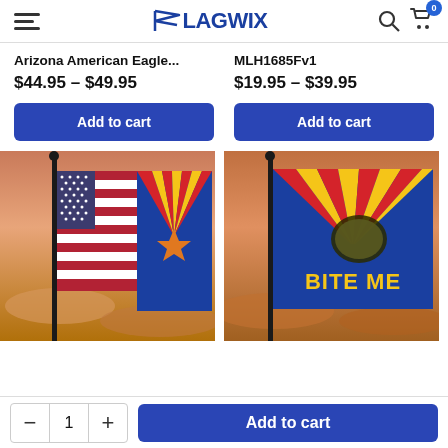Flagwix
Arizona American Eagle...
$44.95 – $49.95
Add to cart
MLH1685Fv1
$19.95 – $39.95
Add to cart
[Figure (photo): Arizona American Eagle flag on a pole against a sunset sky]
[Figure (photo): Arizona Bite Me snake flag on a pole against a sunset sky]
- 1 + Add to cart